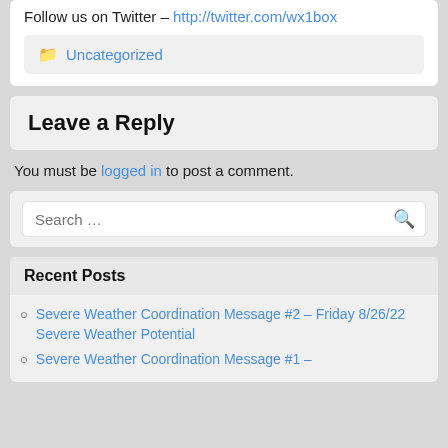Follow us on Twitter – http://twitter.com/wx1box
Uncategorized
Leave a Reply
You must be logged in to post a comment.
Search ...
Recent Posts
Severe Weather Coordination Message #2 – Friday 8/26/22 Severe Weather Potential
Severe Weather Coordination Message #1 –